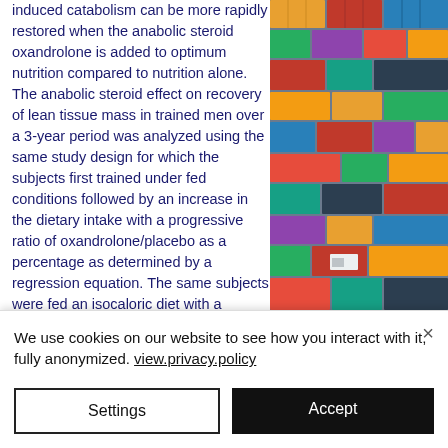induced catabolism can be more rapidly restored when the anabolic steroid oxandrolone is added to optimum nutrition compared to nutrition alone. The anabolic steroid effect on recovery of lean tissue mass in trained men over a 3-year period was analyzed using the same study design for which the subjects first trained under fed conditions followed by an increase in the dietary intake with a progressive ratio of oxandrolone/placebo as a percentage as determined by a regression equation. The same subjects were fed an isocaloric diet with a progressive ratio of oxandrolone/placebo of 4:1, oxandrolone and weight loss. Results showed that
[Figure (photo): Aerial view of colorful shipping containers stacked on a dock or ship]
We use cookies on our website to see how you interact with it, fully anonymized. view.privacy.policy